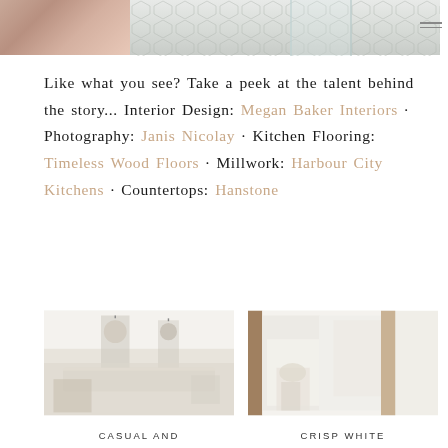[Figure (photo): Top partial photo showing a patterned tile/textile in rose-brown on left, and hexagonal floor tile with glass furniture corner on right, with hamburger menu icon]
Like what you see? Take a peek at the talent behind the story... Interior Design: Megan Baker Interiors · Photography: Janis Nicolay · Kitchen Flooring: Timeless Wood Floors · Millwork: Harbour City Kitchens · Countertops: Hanstone
[Figure (photo): Kitchen interior with pendant lights, island, white cabinets]
[Figure (photo): Bedroom with white curtains, lamp, and wood accent]
CASUAL AND
CRISP WHITE